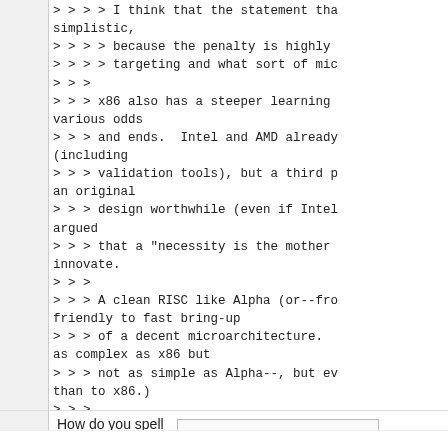> > > > I think that the statement tha simplistic,
> > > > because the penalty is highly
> > > > targeting and what sort of mic
> > >
> > > x86 also has a steeper learning various odds
> > > and ends.  Intel and AMD already (including
> > > validation tools), but a third p an original
> > > design worthwhile (even if Intel argued
> > > that a "necessity is the mother innovate.
> > >
> > > A clean RISC like Alpha (or--fro friendly to fast bring-up
> > > of a decent microarchitecture. as complex as x86 but
> > > not as simple as Alpha--, but ev than to x86.)
> > >
> > > [snip]
> > > > My own take is that for ARM-ba the "many weak cores"
How do you spell avocado?